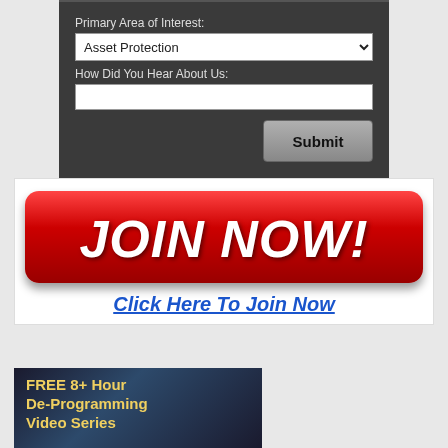[Figure (screenshot): Web form with dark background showing 'Primary Area of Interest' dropdown set to 'Asset Protection', 'How Did You Hear About Us' text input, and a Submit button]
[Figure (infographic): Red rounded 'JOIN NOW!' button banner with 'Click Here To Join Now' link below it in blue italic text]
[Figure (screenshot): Dark blue/teal image with yellow bold text reading 'FREE 8+ Hour De-Programming Video Series']